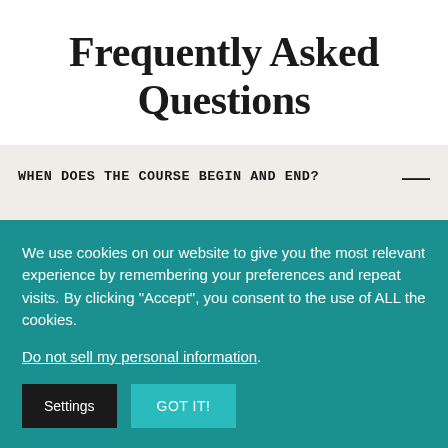Frequently Asked Questions
WHEN DOES THE COURSE BEGIN AND END?
The SavvySystem is self-paced, and you have lifetime access to the course! You can start
We use cookies on our website to give you the most relevant experience by remembering your preferences and repeat visits. By clicking "Accept", you consent to the use of ALL the cookies.
Do not sell my personal information.
Settings  GOT IT!